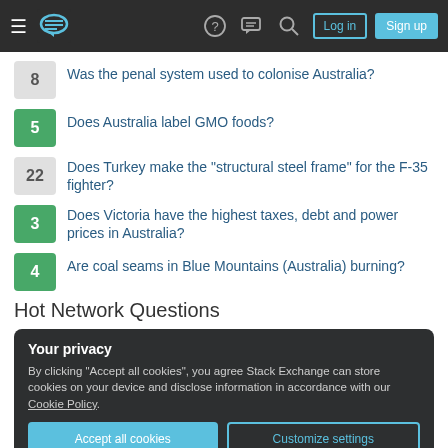Navigation bar with hamburger menu, Stack Exchange logo, help icon, chat icon, search icon, Log in button, Sign up button
8 — Was the penal system used to colonise Australia?
5 — Does Australia label GMO foods?
22 — Does Turkey make the "structural steel frame" for the F-35 fighter?
3 — Does Victoria have the highest taxes, debt and power prices in Australia?
4 — Are coal seams in Blue Mountains (Australia) burning?
Hot Network Questions
Your privacy
By clicking "Accept all cookies", you agree Stack Exchange can store cookies on your device and disclose information in accordance with our Cookie Policy.
Accept all cookies | Customize settings
Package rer is not available, but is referred to by another package